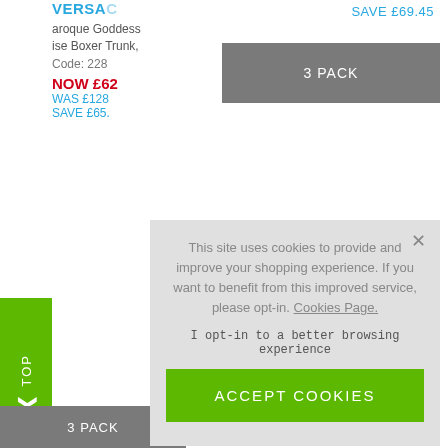SAVE £69.45
3 PACK
VERSACE
Baroque Goddess Turquoise Boxer Trunk,
Code: 228
NOW £62
WAS £128
SAVE £65.
3 PACK
This site uses cookies to provide and improve your shopping experience. If you want to benefit from this improved service, please opt-in. Cookies Page.
I opt-in to a better browsing experience
ACCEPT COOKIES